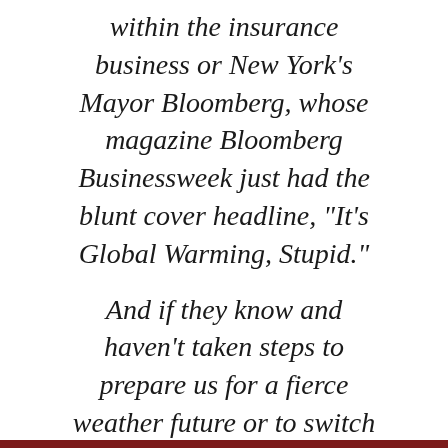within the insurance business or New York’s Mayor Bloomberg, whose magazine Bloomberg Businessweek just had the blunt cover headline, “It’s Global Warming, Stupid.”
And if they know and haven’t taken steps to prepare us for a fierce weather future or to switch us over to an alternative energy economy, if they’ve